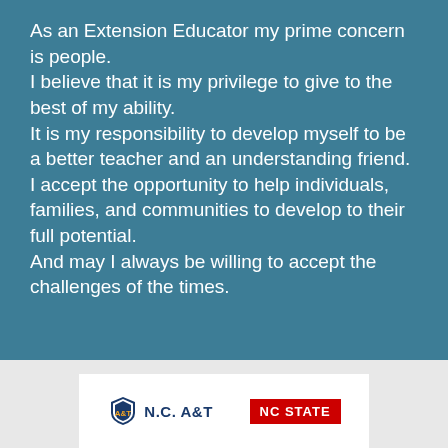As an Extension Educator my prime concern is people.
I believe that it is my privilege to give to the best of my ability.
It is my responsibility to develop myself to be a better teacher and an understanding friend.
I accept the opportunity to help individuals, families, and communities to develop to their full potential.
And may I always be willing to accept the challenges of the times.
[Figure (logo): NC A&T and NC State university logos in a white box on a gray footer background]